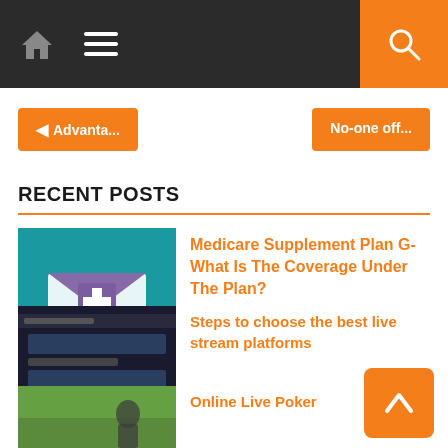Navigation bar with home icon, menu icon, and search button
◄ Advanta...
No-one off...
RECENT POSTS
Medicare Supplement Plan G- What Is The Coverage Under The Plan?
Steps to choose the best live stream platforms
Online Live Poker